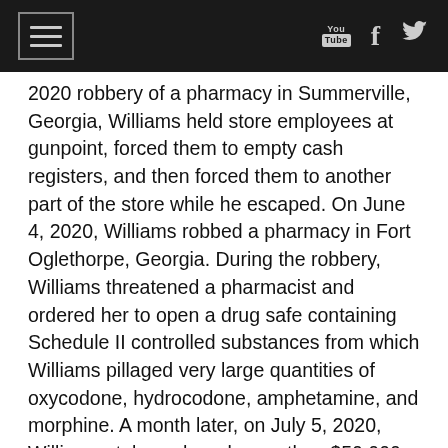[Navigation bar with hamburger menu, YouTube, Facebook, and Twitter icons]
2020 robbery of a pharmacy in Summerville, Georgia, Williams held store employees at gunpoint, forced them to empty cash registers, and then forced them to another part of the store while he escaped. On June 4, 2020, Williams robbed a pharmacy in Fort Oglethorpe, Georgia. During the robbery, Williams threatened a pharmacist and ordered her to open a drug safe containing Schedule II controlled substances from which Williams pillaged very large quantities of oxycodone, hydrocodone, amphetamine, and morphine. A month later, on July 5, 2020, Williams stole cash and more than $50,000 worth of Schedule II controlled substances from a pharmacy in Carrollton, Georgia. Williams took only the most dangerous narcotics, leaving other pharmaceuticals behind. He forced all of the employees and customers in the store to surrender their cell phones and lay on their stomachs in different areas of